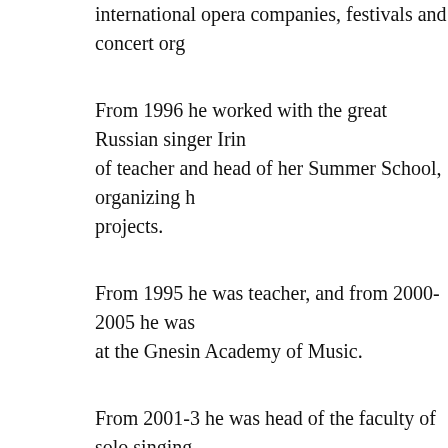international opera companies, festivals and concert org
From 1996 he worked with the great Russian singer Irin of teacher and head of her Summer School, organizing h projects.
From 1995 he was teacher, and from 2000-2005 he was at the Gnesin Academy of Music.
From 2001-3 he was head of the faculty of solo singing of Choral Art (from 2001 he was senior lecturer and fro Academy).
He has given master classes in many cities of Russia, as Italy, Canada, Latvia, France, Poland. He was resident g Grand Opera Young Artists Program (HGO Studio).
In 1999-2009, he was artistic director and teacher at the of Vocal Art which made it possible for leading opera te Russia, USA, Italy, Germany and Great Britain to come young singers. In the first ten years of the present centu